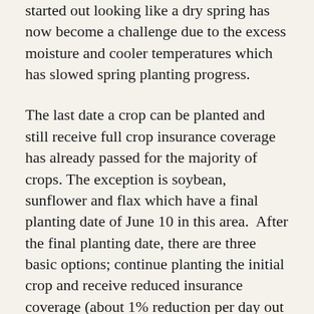started out looking like a dry spring has now become a challenge due to the excess moisture and cooler temperatures which has slowed spring planting progress.
The last date a crop can be planted and still receive full crop insurance coverage has already passed for the majority of crops. The exception is soybean, sunflower and flax which have a final planting date of June 10 in this area. After the final planting date, there are three basic options; continue planting the initial crop and receive reduced insurance coverage (about 1% reduction per day out to about 25 days), claim prevented planting without planting an alternative crop (crop to be harvested) or claim prevented planting and seed an alternative or second crop with insurance coverage. Make sure to check with your